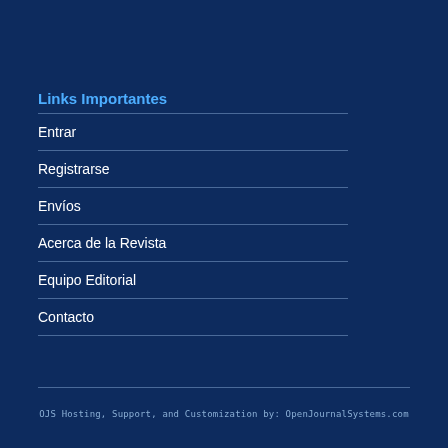Links Importantes
Entrar
Registrarse
Envíos
Acerca de la Revista
Equipo Editorial
Contacto
OJS Hosting, Support, and Customization by: OpenJournalSystems.com